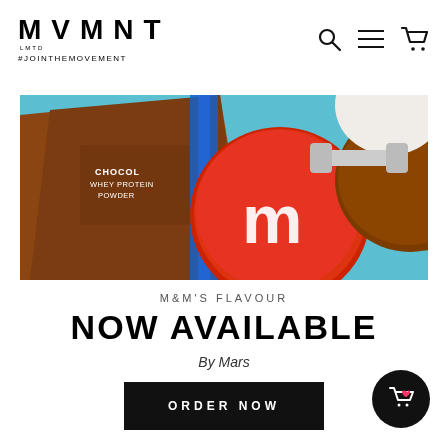MVMNT LMTD #JOINTHEMOVEMENT
[Figure (photo): Promotional banner showing a chocolate whey protein powder bag alongside M&M's candy pieces on a blue background]
M&M'S FLAVOUR
NOW AVAILABLE
By Mars
ORDER NOW